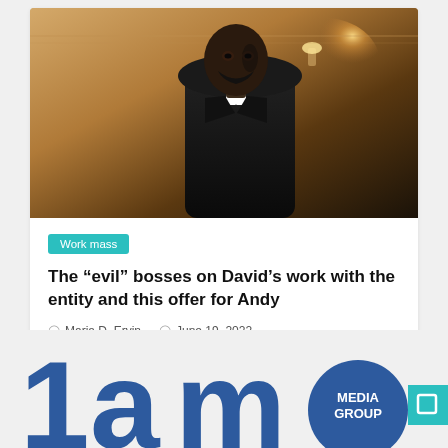[Figure (photo): Photo of a Black man in a black clerical suit with white collar, looking over his shoulder, against a warm golden-toned interior background with wall lamps]
Work mass
The “evil” bosses on David’s work with the entity and this offer for Andy
Maria D. Ervin   June 19, 2022
[Figure (logo): Partial logo showing large blue number/letter and a dark blue circle badge with MEDIA GROUP text, with a teal square icon on the right]